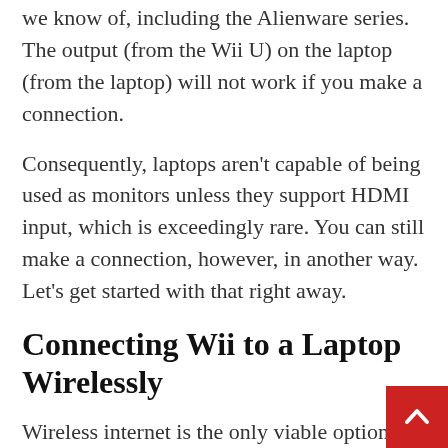we know of, including the Alienware series. The output (from the Wii U) on the laptop (from the laptop) will not work if you make a connection.
Consequently, laptops aren't capable of being used as monitors unless they support HDMI input, which is exceedingly rare. You can still make a connection, however, in another way. Let's get started with that right away.
Connecting Wii to a Laptop Wirelessly
Wireless internet is the only viable option for connecting a Wii console to a laptop. Besides updating, downloading, and browsing, you can